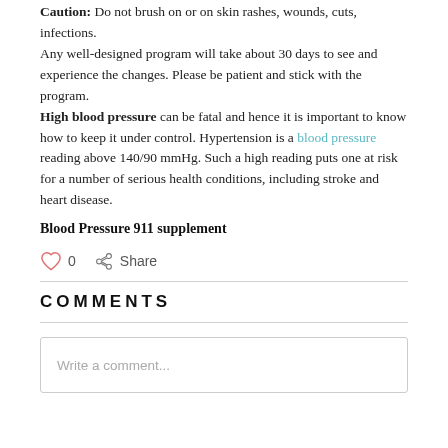Caution: Do not brush on or on skin rashes, wounds, cuts, infections. Any well-designed program will take about 30 days to see and experience the changes. Please be patient and stick with the program. High blood pressure can be fatal and hence it is important to know how to keep it under control. Hypertension is a blood pressure reading above 140/90 mmHg. Such a high reading puts one at risk for a number of serious health conditions, including stroke and heart disease.
Blood Pressure 911 supplement
0  Share
COMMENTS
Write a comment...